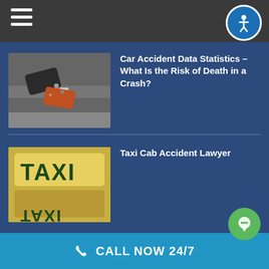Navigation bar with hamburger menu and accessibility icon
[Figure (photo): Aerial view of a car accident crash scene showing two damaged vehicles on a road]
Car Accident Data Statistics – What Is the Risk of Death in a Crash?
[Figure (photo): Close-up of a yellow TAXI cab sign on top of a taxi cab, with reflection visible]
Taxi Cab Accident Lawyer
CALL NOW 24/7